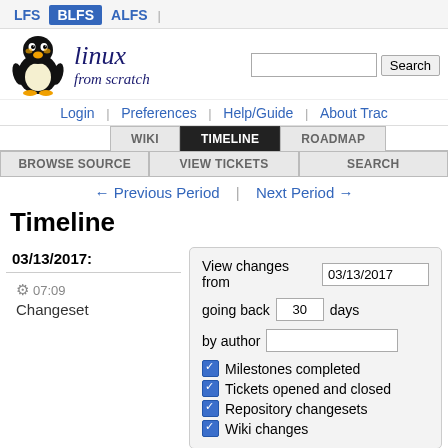LFS | BLFS | ALFS
[Figure (logo): Linux From Scratch Tux penguin logo with search bar]
Login | Preferences | Help/Guide | About Trac
WIKI | TIMELINE | ROADMAP | BROWSE SOURCE | VIEW TICKETS | SEARCH
← Previous Period | Next Period →
Timeline
03/13/2017:
View changes from 03/13/2017 going back 30 days by author
Milestones completed
Tickets opened and closed
Repository changesets
Wiki changes
⚙ 07:09 Changeset